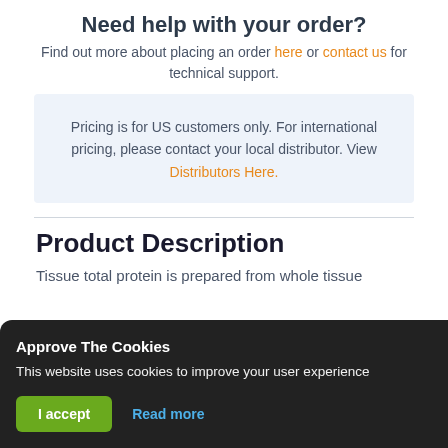Need help with your order?
Find out more about placing an order here or contact us for technical support.
Pricing is for US customers only. For international pricing, please contact your local distributor. View Distributors Here.
Product Description
Tissue total protein is prepared from whole tissue
Approve The Cookies
This website uses cookies to improve your user experience